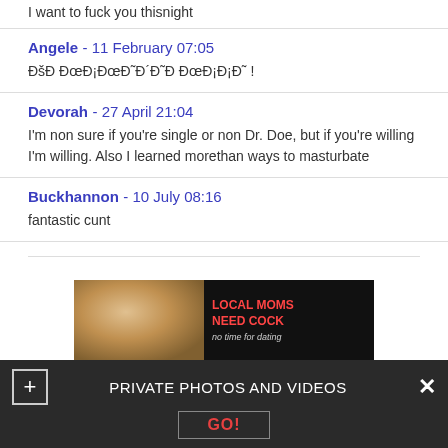I want to fuck you thisnight
Angele - 11 February 07:05
ÐšÐ ÐœÐ¡ÐœÐ´Ð˜Ð´Ð˜Ð ÐœÐ¡Ð¡Ð˜ !
Devorah - 27 April 21:04
I'm non sure if you're single or non Dr. Doe, but if you're willing I'm willing. Also I learned morethan ways to masturbate
Buckhannon - 10 July 08:16
fantastic cunt
[Figure (photo): Advertisement banner: photo of a woman on left side, text on right reading LOCAL MOMS NEED COCK no time for dating]
PRIVATE PHOTOS AND VIDEOS
GO!